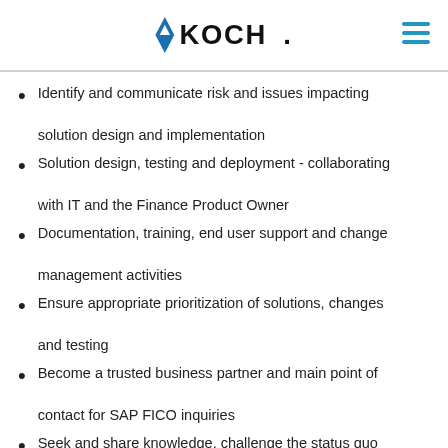KOCH
Identify and communicate risk and issues impacting solution design and implementation
Solution design, testing and deployment - collaborating with IT and the Finance Product Owner
Documentation, training, end user support and change management activities
Ensure appropriate prioritization of solutions, changes and testing
Become a trusted business partner and main point of contact for SAP FICO inquiries
Seek and share knowledge, challenge the status quo